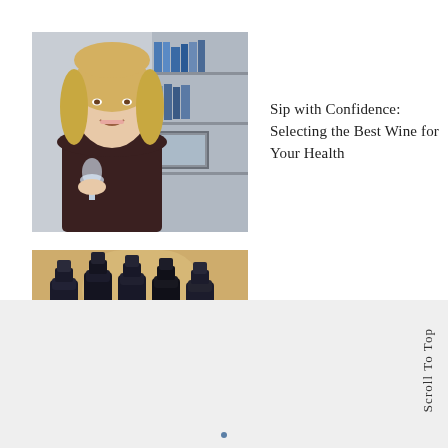[Figure (photo): Woman with blonde hair holding a wine glass, smiling, bookshelves in background]
Sip with Confidence: Selecting the Best Wine for Your Health
[Figure (photo): Several dark wine bottles lined up on a wooden table]
Raise a Glass to the Opening of Storico Vino
Scroll To Top